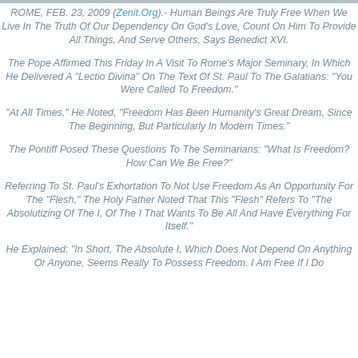ROME, FEB. 23, 2009 (Zenit.Org).- Human Beings Are Truly Free When We Live In The Truth Of Our Dependency On God's Love, Count On Him To Provide All Things, And Serve Others, Says Benedict XVI.
The Pope Affirmed This Friday In A Visit To Rome's Major Seminary, In Which He Delivered A "Lectio Divina" On The Text Of St. Paul To The Galatians: "You Were Called To Freedom."
"At All Times," He Noted, "Freedom Has Been Humanity's Great Dream, Since The Beginning, But Particularly In Modern Times."
The Pontiff Posed These Questions To The Seminarians: "What Is Freedom? How Can We Be Free?"
Referring To St. Paul's Exhortation To Not Use Freedom As An Opportunity For The "Flesh," The Holy Father Noted That This "Flesh" Refers To "The Absolutizing Of The I, Of The I That Wants To Be All And Have Everything For Itself."
He Explained: "In Short, The Absolute I, Which Does Not Depend On Anything Or Anyone, Seems Really To Possess Freedom. I Am Free If I Do